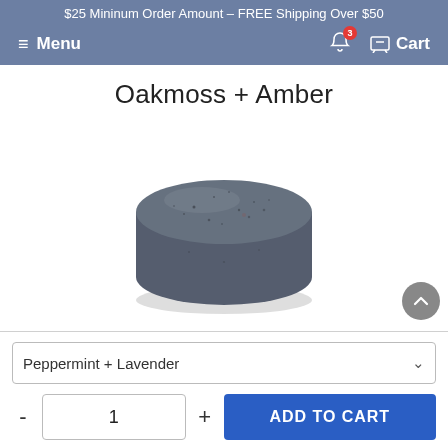$25 Mininum Order Amount – FREE Shipping Over $50
Menu
3 (notification badge)
Cart
Oakmoss + Amber
[Figure (photo): Round dark gray/blue speckled soap bar viewed slightly from above, with matte finish and small dark specks throughout.]
Peppermint + Lavender
1
ADD TO CART